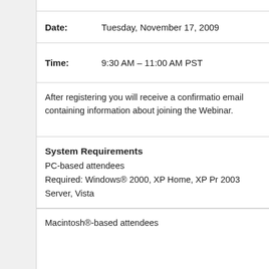Date: Tuesday, November 17, 2009
Time: 9:30 AM – 11:00 AM PST
After registering you will receive a confirmation email containing information about joining the Webinar.
System Requirements
PC-based attendees
Required: Windows® 2000, XP Home, XP Pro, 2003 Server, Vista
Macintosh®-based attendees